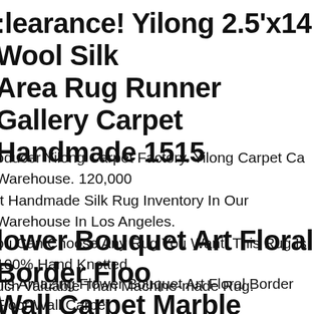clearance! Yilong 2.5'x14 Wool Silk Area Rug Runner Gallery Carpet Handmade 1515
oducer Yilong Carpet Factory. Yilong Carpet Ca Warehouse. 120,000 ft Handmade Silk Rug Inventory In Our Warehouse In Los Angeles. ou Can Choose Any Rug You Want. This Rug Is 100% Hand Knotted, uch Valuable Than Machine-made Rug.
lower Bouquet Art Floral Border Floo Wall Carpet Marble Mosaic
his Amazing Flower Bouquet Art Floral Border Floor Wall Carpet arble Mosaic Is Hand Cut From Natural Stones. It Will Give Great alue To The Room Or Area You're Installing It In. Created In 1968, osaic Marble Is The Fruit Of A Passion That Has Been Passing On